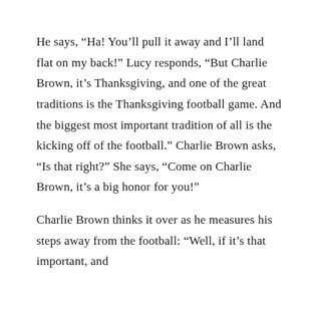He says, “Ha! You’ll pull it away and I’ll land flat on my back!” Lucy responds, “But Charlie Brown, it’s Thanksgiving, and one of the great traditions is the Thanksgiving football game. And the biggest most important tradition of all is the kicking off of the football.” Charlie Brown asks, “Is that right?” She says, “Come on Charlie Brown, it’s a big honor for you!”
Charlie Brown thinks it over as he measures his steps away from the football: “Well, if it’s that important, and